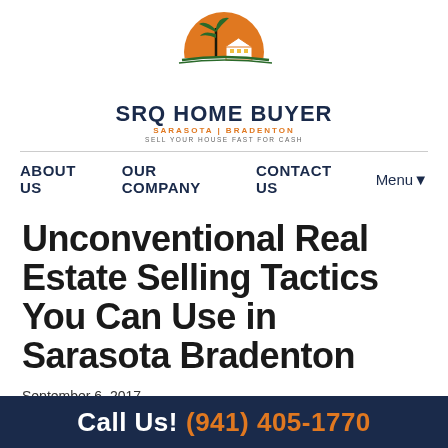[Figure (logo): SRQ Home Buyer logo with orange sun, palm tree, and house illustration. Text reads SRQ HOME BUYER, SARASOTA | BRADENTON, SELL YOUR HOUSE FAST FOR CASH.]
ABOUT US  OUR COMPANY  CONTACT US  Menu▼
Unconventional Real Estate Selling Tactics You Can Use in Sarasota Bradenton
September 6, 2017
By nick@srqhomebuyer.com
With all the competition out there, selling your h
Call Us! (941) 405-1770